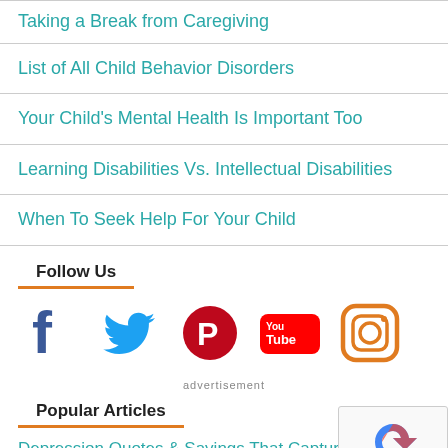Taking a Break from Caregiving
List of All Child Behavior Disorders
Your Child's Mental Health Is Important Too
Learning Disabilities Vs. Intellectual Disabilities
When To Seek Help For Your Child
Follow Us
[Figure (infographic): Social media icons: Facebook, Twitter, Pinterest, YouTube, Instagram]
advertisement
Popular Articles
Depression Quotes & Sayings That Capture Life w… Depression